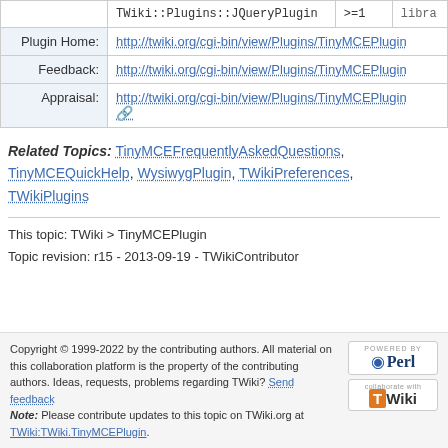|  | TWiki::Plugins::JQueryPlugin | >=1 | libra... |
| Plugin Home: | http://twiki.org/cgi-bin/view/Plugins/TinyMCEPlugin... |  |  |
| Feedback: | http://twiki.org/cgi-bin/view/Plugins/TinyMCEPlugin... |  |  |
| Appraisal: | http://twiki.org/cgi-bin/view/Plugins/TinyMCEPlugin... [external] |  |  |
Related Topics: TinyMCEFrequentlyAskedQuestions, TinyMCEQuickHelp, WysiwygPlugin, TWikiPreferences, TWikiPlugins
This topic: TWiki > TinyMCEPlugin
Topic revision: r15 - 2013-09-19 - TWikiContributor
Copyright © 1999-2022 by the contributing authors. All material on this collaboration platform is the property of the contributing authors. Ideas, requests, problems regarding TWiki? Send feedback Note: Please contribute updates to this topic on TWiki.org at TWiki:TWiki.TinyMCEPlugin.